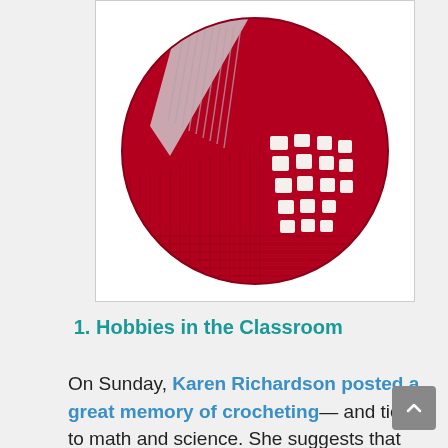[Figure (photo): Close-up circular photograph of a red and white crocheted piece showing intricate crochet stitching patterns with a diagonal line of light-colored stitches across the center, viewed from above.]
1. Hobbies in the Classroom
On Sunday, Karen Richardson posted a great memory of crocheting— and tied it to math and science. She suggests that we should